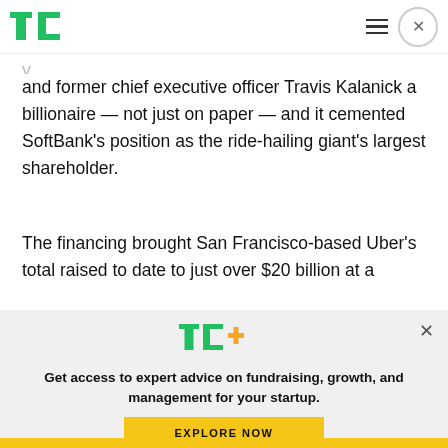TechCrunch logo, hamburger menu, close button
and former chief executive officer Travis Kalanick a billionaire — not just on paper — and it cemented SoftBank's position as the ride-hailing giant's largest shareholder.
The financing brought San Francisco-based Uber's total raised to date to just over $20 billion at a
[Figure (logo): TC+ logo in green and yellow]
Get access to expert advice on fundraising, growth, and management for your startup.
EXPLORE NOW